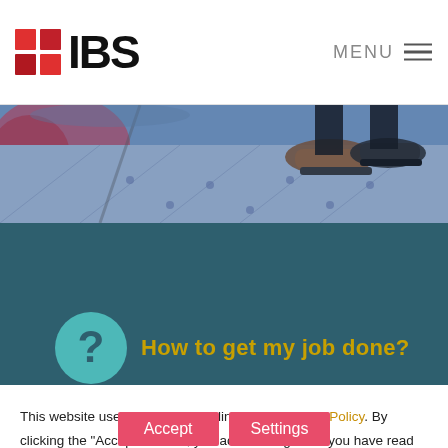IBS — MENU
[Figure (photo): Close-up photo of a person's shoes stepping on metallic/glass flooring with dots, blue-tinted lighting]
How to get my job done?
This website uses cookies according to our Privacy Policy. By clicking the "Accept " button, you acknowledge that you have read and agree to it. You can change the cookie settings at any time from the link at the bottom of this page.
Accept   Settings